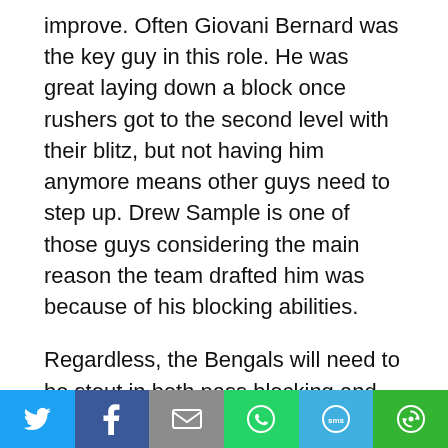improve. Often Giovani Bernard was the key guy in this role. He was great laying down a block once rushers got to the second level with their blitz, but not having him anymore means other guys need to step up. Drew Sample is one of those guys considering the main reason the team drafted him was because of his blocking abilities.
Regardless, the Bengals will need to be stout in both pass blocking and run blocking for them to have the success they want to have as an offense, and an early-season test against the Chicago Bears front will be the perfect match for that challenge.
[Figure (other): Social media share bar with icons for Twitter, Facebook, Email, WhatsApp, SMS, and More.]